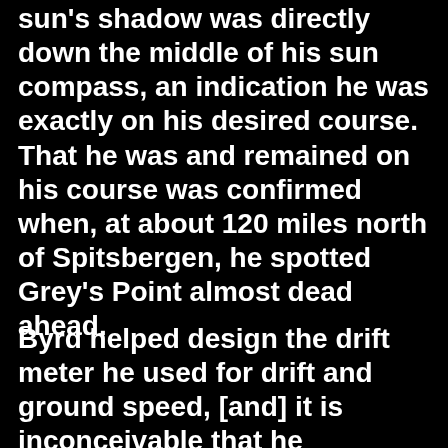sun’s shadow was directly down the middle of his sun compass, an indication he was exactly on his desired course. That he was and remained on his course was confirmed when, at about 120 miles north of Spitsbergen, he spotted Grey’s Point almost dead ahead.
Byrd helped design the drift meter he used for drift and ground speed, [and] it is inconceivable that he